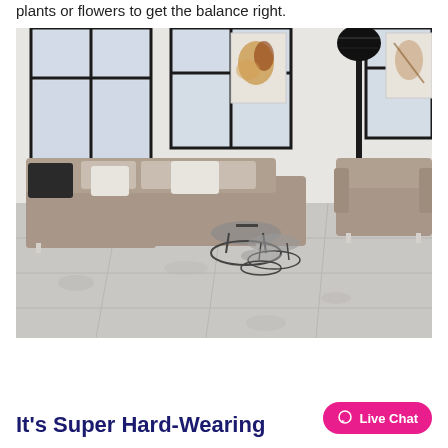plants or flowers to get the balance right.
[Figure (photo): Modern living room with a large grey L-shaped sofa, armchair, round glass side tables, black floor lamp, large windows with black frames, and light grey large-format tile flooring.]
It's Super Hard-Wearing